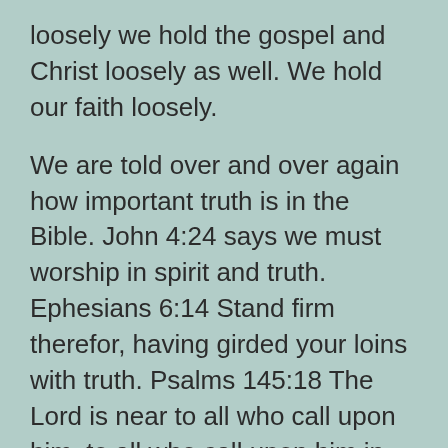loosely we hold the gospel and Christ loosely as well. We hold our faith loosely.
We are told over and over again how important truth is in the Bible. John 4:24 says we must worship in spirit and truth. Ephesians 6:14 Stand firm therefor, having girded your loins with truth. Psalms 145:18 The Lord is near to all who call upon him, to all who call upon him in truth.
Truth hugely matters it matters in how we live, how we interact with others, with God, how we know what is right and wrong, its what we are